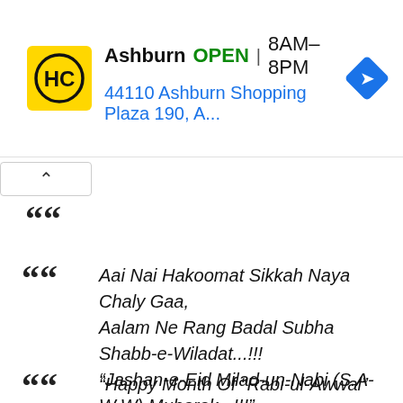[Figure (screenshot): Advertisement banner for HC store in Ashburn. Shows HC logo (yellow square with HC letters), store name 'Ashburn', status 'OPEN', hours '8AM–8PM', address '44110 Ashburn Shopping Plaza 190, A...', and a blue navigation/directions diamond icon.]
"Aai Nai Hakoomat Sikkah Naya Chaly Gaa,
Aalam Ne Rang Badal Subha Shabb-e-Wiladat...!!!
"Jashan-e-Eid Milad-un-Nabi (S.A-W.W) Mubarak...!!!"
"Happy Month Of "Rabi-ul-Awwal" May Allah Grant U All Ur Wishes By This...